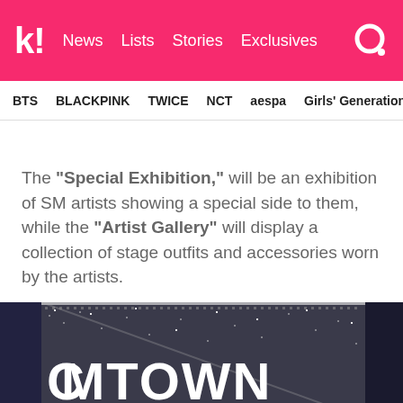K! News Lists Stories Exclusives
BTS BLACKPINK TWICE NCT aespa Girls' Generation
The "Special Exhibition," will be an exhibition of SM artists showing a special side to them, while the "Artist Gallery" will display a collection of stage outfits and accessories worn by the artists.
[Figure (photo): SMTOWN building sign with glittering LED/sequin facade showing 'SMTOWN' and 'SMT' text in white letters on dark metallic surface]